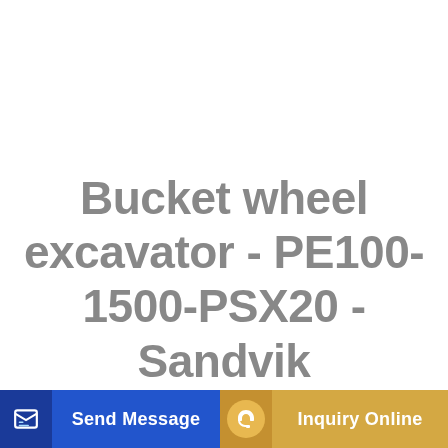Bucket wheel excavator - PE100-1500-PSX20 - Sandvik
[Figure (screenshot): Two UI buttons at the bottom of the page: 'Send Message' button in blue on the left and 'Inquiry Online' button in gold/yellow on the right, each with an icon on the left side.]